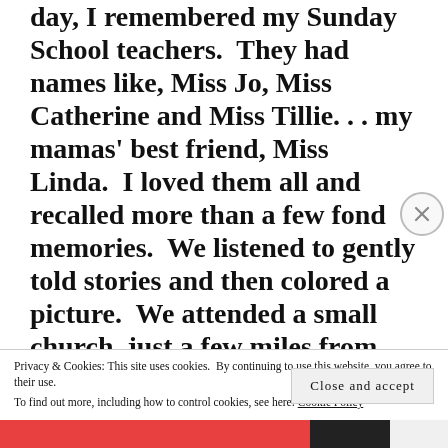day, I remembered my Sunday School teachers.  They had names like, Miss Jo, Miss Catherine and Miss Tillie. . . my mamas' best friend, Miss Linda.  I loved them all and recalled more than a few fond memories.  We listened to gently told stories and then colored a picture.  We attended a small church, just a few miles from the house.  We always rode  to church with Pop and Grandmama.  We
Privacy & Cookies: This site uses cookies.  By continuing to use this website, you agree to their use.
To find out more, including how to control cookies, see here: Cookie Policy
Close and accept